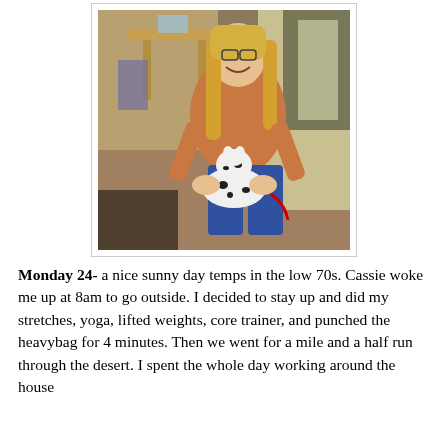[Figure (photo): A smiling woman with long blonde hair and glasses, wearing a tan/orange sweater and jeans, kneeling and holding a Dalmatian puppy on a red leash. Background shows a classroom or room with desks and chairs.]
Monday 24- a nice sunny day temps in the low 70s. Cassie woke me up at 8am to go outside. I decided to stay up and did my stretches, yoga, lifted weights, core trainer, and punched the heavybag for 4 minutes. Then we went for a mile and a half run through the desert. I spent the whole day working around the house